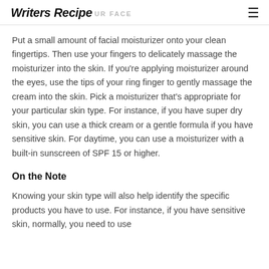Writers Recipe | STEP 3: MOISTURIZE YOUR FACE
Put a small amount of facial moisturizer onto your clean fingertips. Then use your fingers to delicately massage the moisturizer into the skin. If you're applying moisturizer around the eyes, use the tips of your ring finger to gently massage the cream into the skin. Pick a moisturizer that's appropriate for your particular skin type. For instance, if you have super dry skin, you can use a thick cream or a gentle formula if you have sensitive skin. For daytime, you can use a moisturizer with a built-in sunscreen of SPF 15 or higher.
On the Note
Knowing your skin type will also help identify the specific products you have to use. For instance, if you have sensitive skin, normally, you need to use